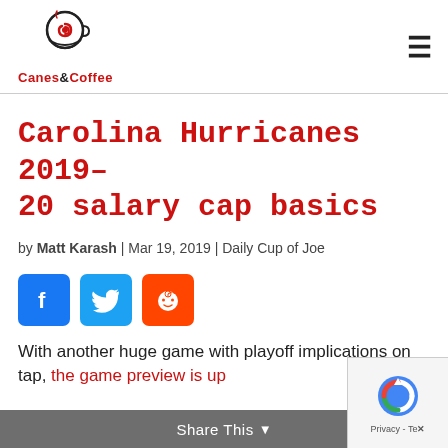Canes & Coffee
Carolina Hurricanes 2019–20 salary cap basics
by Matt Karash | Mar 19, 2019 | Daily Cup of Joe
[Figure (other): Social share buttons: Facebook (blue), Twitter (light blue), Reddit (orange)]
With another huge game with playoff implications on tap, the game preview is up and for the Canes, so the Roanoke RHS...